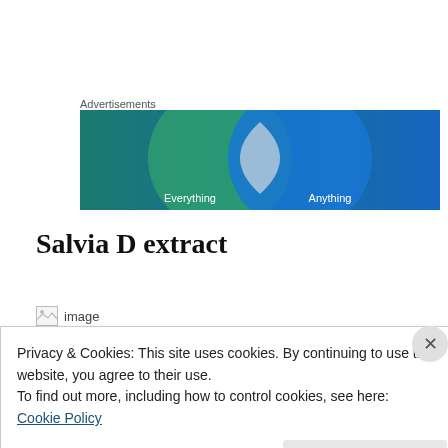Advertisements
[Figure (illustration): Advertisement banner with two overlapping circles (Venn diagram style) on a teal and blue gradient background. Left circle is green-teal, right circle is blue. The intersection is a light gray/white area. Text at bottom reads 'Everything' on the left and 'Anything' on the right.]
Salvia D extract
[Figure (photo): Broken image placeholder with 'image' label text]
Privacy & Cookies: This site uses cookies. By continuing to use this website, you agree to their use.
To find out more, including how to control cookies, see here:
Cookie Policy
Close and accept